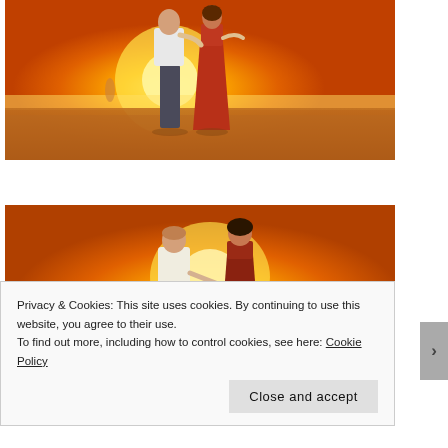[Figure (photo): Couple standing close together on a beach at sunset, golden warm light, man in white shirt and grey pants, woman in red dress, bare feet on sand, backlit silhouette with a person visible in background]
[Figure (photo): Couple seen from behind holding hands while watching sunset on a beach, man in white shirt and woman in dark red/orange dress, golden sunset over water]
Privacy & Cookies: This site uses cookies. By continuing to use this website, you agree to their use.
To find out more, including how to control cookies, see here: Cookie Policy

Close and accept